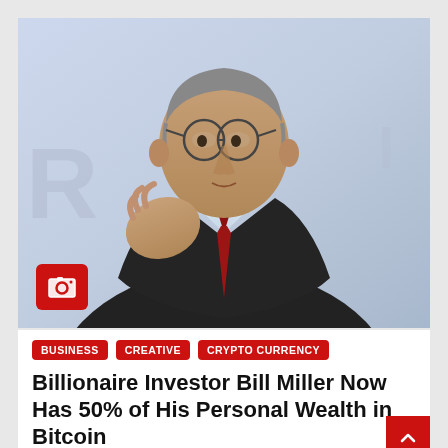[Figure (photo): Photograph of Bill Miller, an older man with gray hair and round glasses, wearing a dark suit and red tie, gesturing with his hand while speaking at an event. A camera icon overlay appears in the bottom-left corner of the photo.]
BUSINESS
CREATIVE
CRYPTO CURRENCY
Billionaire Investor Bill Miller Now Has 50% of His Personal Wealth in Bitcoin